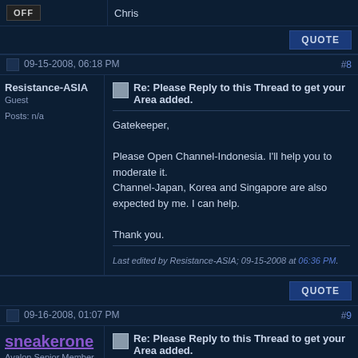Chris
OFF
QUOTE
09-15-2008, 06:18 PM  #8
Resistance-ASIA
Guest
Posts: n/a
Re: Please Reply to this Thread to get your Area added.

Gatekeeper,

Please Open Channel-Indonesia. I'll help you to moderate it.
Channel-Japan, Korea and Singapore are also expected by me. I can help.

Thank you.

Last edited by Resistance-ASIA; 09-15-2008 at 06:36 PM.
QUOTE
09-16-2008, 01:07 PM  #9
sneakerone
Avalon Senior Member
Join Date: Sep 2008
Location: Indonesia
Posts: 21
Re: Please Reply to this Thread to get your Area added.

Hey yall can call me Sneak.. Im from Indonesia.. Can we have an Indonesia sub-forum here.. We do already have